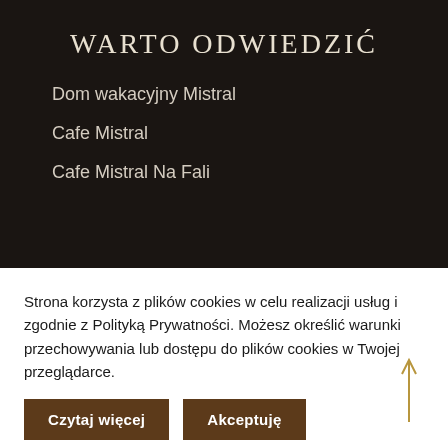WARTO ODWIEDZIĆ
Dom wakacyjny Mistral
Cafe Mistral
Cafe Mistral Na Fali
Strona korzysta z plików cookies w celu realizacji usług i zgodnie z Polityką Prywatności. Możesz określić warunki przechowywania lub dostępu do plików cookies w Twojej przeglądarce.
Czytaj więcej
Akceptuję